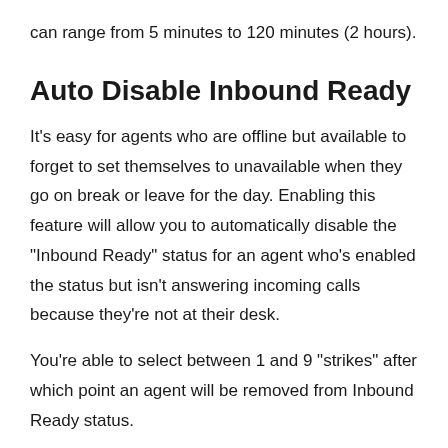can range from 5 minutes to 120 minutes (2 hours).
Auto Disable Inbound Ready
It's easy for agents who are offline but available to forget to set themselves to unavailable when they go on break or leave for the day. Enabling this feature will allow you to automatically disable the "Inbound Ready" status for an agent who's enabled the status but isn't answering incoming calls because they're not at their desk.
You're able to select between 1 and 9 "strikes" after which point an agent will be removed from Inbound Ready status.